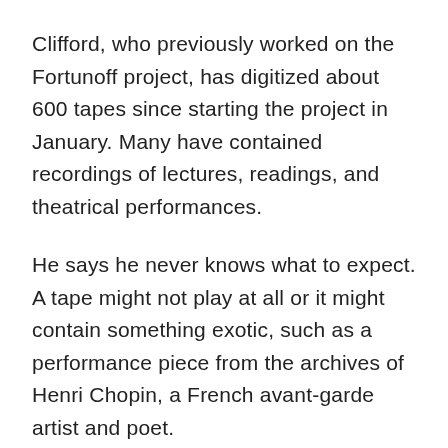Clifford, who previously worked on the Fortunoff project, has digitized about 600 tapes since starting the project in January. Many have contained recordings of lectures, readings, and theatrical performances.
He says he never knows what to expect. A tape might not play at all or it might contain something exotic, such as a performance piece from the archives of Henri Chopin, a French avant-garde artist and poet.
“That was some really wild stuff,” he says.
Photo via Shutterstock
RELATED